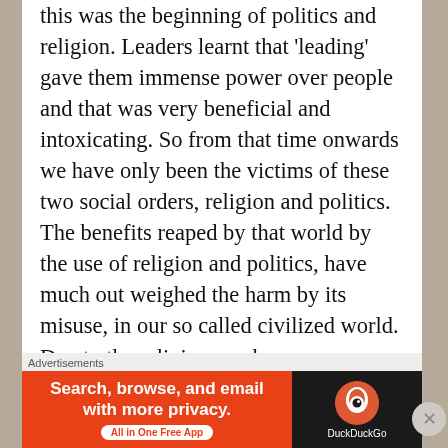this was the beginning of politics and religion. Leaders learnt that 'leading' gave them immense power over people and that was very beneficial and intoxicating. So from that time onwards we have only been the victims of these two social orders, religion and politics. The benefits reaped by that world by the use of religion and politics, have much out weighed the harm by its misuse, in our so called civilized world. Due to the religion, we have gone through the worst period of wars, mass killings, ethnic cleansing, Jehads, countries breaking up etc. I seriously question the utility of religion for providing any benefits what-so-ever, to human race. A sensible businessman will just drop harmful and useless
Advertisements
[Figure (infographic): DuckDuckGo advertisement banner. Orange left section with text 'Search, browse, and email with more privacy. All in One Free App'. Dark right section with DuckDuckGo logo and text 'DuckDuckGo'.]